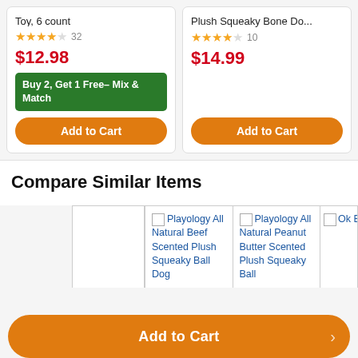Toy, 6 count
★★★★☆ 32
$12.98
Buy 2, Get 1 Free– Mix & Match
Add to Cart
Plush Squeaky Bone Do...
★★★★☆ 10
$14.99
Add to Cart
Compare Similar Items
Playology All Natural Beef Scented Plush Squeaky Ball Dog
Playology All Natural Peanut Butter Scented Plush Squeaky Ball
Add to Cart